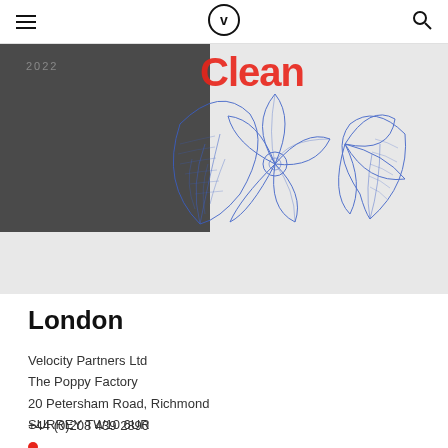Velocity Partners — navigation header with logo and hamburger menu
[Figure (illustration): Banner image split into dark grey left half and light grey right half, with year '2022' in grey on the dark side, red decorative text partially visible at top, and a blue botanical/poppy illustration on the right side]
London
Velocity Partners Ltd
The Poppy Factory
20 Petersham Road, Richmond
SURREY TW10 6UR
+44 (0)208 439 2890